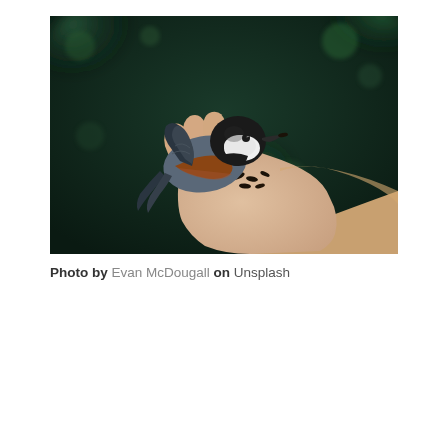[Figure (photo): A small bird (chickadee) perched on an outstretched child's hand holding sunflower seeds, against a dark green bokeh background. The bird has a black cap, white cheek, rusty brown side, and dark wings.]
Photo by Evan McDougall on Unsplash